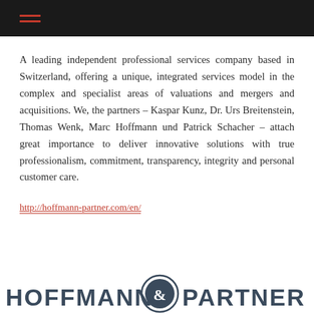A leading independent professional services company based in Switzerland, offering a unique, integrated services model in the complex and specialist areas of valuations and mergers and acquisitions. We, the partners – Kaspar Kunz, Dr. Urs Breitenstein, Thomas Wenk, Marc Hoffmann und Patrick Schacher – attach great importance to deliver innovative solutions with true professionalism, commitment, transparency, integrity and personal customer care.
http://hoffmann-partner.com/en/
[Figure (logo): Hoffmann & Partner logo with circular emblem between the two words in dark navy/grey text on white background]